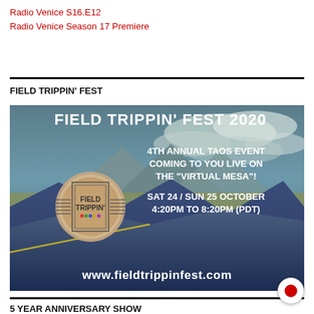Radio Venice S16.E12
Radio Venice Season 17 Premiere
FIELD TRIPPIN' FEST
[Figure (illustration): Field Trippin' Fest 2020 promotional banner with mountain landscape background. Text reads: FIELD TRIPPIN' FEST 2020 / 4TH ANNUAL TAOS EVENT COMING TO YOU LIVE ON THE "VIRTUAL MESA"! / SAT 24 / SUN 25 OCTOBER 4:20PM TO 8:20PM (PDT) / www.fieldtrippinfest.com. A circular logo with 'FIELD TRIPPIN'' text is shown on the left side.]
5 YEAR ANNIVERSARY SHOW